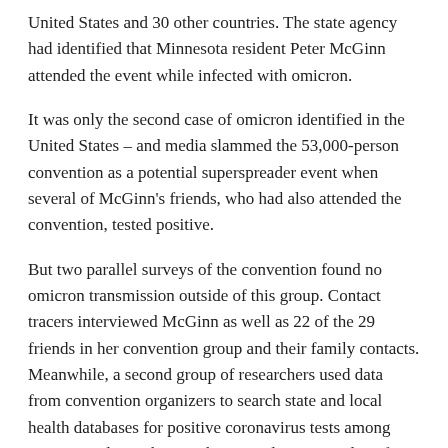United States and 30 other countries. The state agency had identified that Minnesota resident Peter McGinn attended the event while infected with omicron.
It was only the second case of omicron identified in the United States – and media slammed the 53,000-person convention as a potential superspreader event when several of McGinn's friends, who had also attended the convention, tested positive.
But two parallel surveys of the convention found no omicron transmission outside of this group. Contact tracers interviewed McGinn as well as 22 of the 29 friends in her convention group and their family contacts. Meanwhile, a second group of researchers used data from convention organizers to search state and local health databases for positive coronavirus tests among event attendees. The search returned 4,560 results, of which 119 (or 2.6%) were positive.
Of those 119 participants, only 16 cases were linked to McGinn and friends. Five of the 16 cases were sequenced and all were identified as omicron. Apart from this group, 15 other sequenced cases have